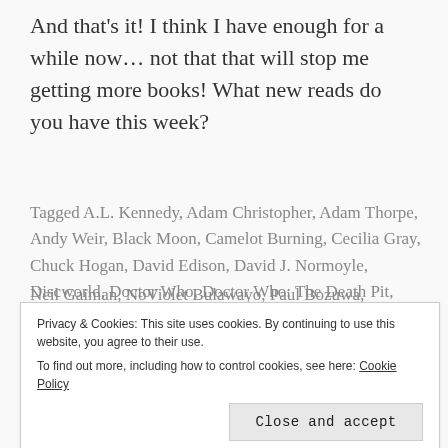And that's it! I think I have enough for a while now… not that that will stop me getting more books! What new reads do you have this week?
Tagged A.L. Kennedy, Adam Christopher, Adam Thorpe, Andy Weir, Black Moon, Camelot Burning, Cecilia Gray, Chuck Hogan, David Edison, David J. Normoyle, Discworld, Doctor Who, Doctor Who: The Death Pit, Donna Tartt, Drawn, Guillermo del Toro, Hang Wire, Herman Koch, Hodd, In the Company of Thieves, Kage Baker, Kathryn Rose, Kenneth Calhoun, Lisa Colozza Cocca, Lonely Planet, Neil Gaiman, NoViolet Bulawayo, Paul Bozuwa, Providence…
Privacy & Cookies: This site uses cookies. By continuing to use this website, you agree to their use.
To find out more, including how to control cookies, see here: Cookie Policy
Close and accept
Strain, The Vanishing, The Waking Engine, We Need New